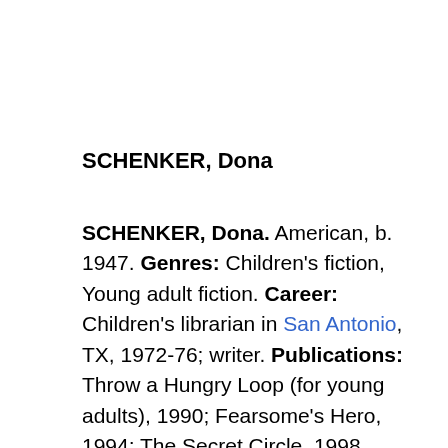SCHENKER, Dona
SCHENKER, Dona. American, b. 1947. Genres: Children's fiction, Young adult fiction. Career: Children's librarian in San Antonio, TX, 1972-76; writer. Publications: Throw a Hungry Loop (for young adults), 1990; Fearsome's Hero, 1994; The Secret Circle, 1998. Address: 802 E El